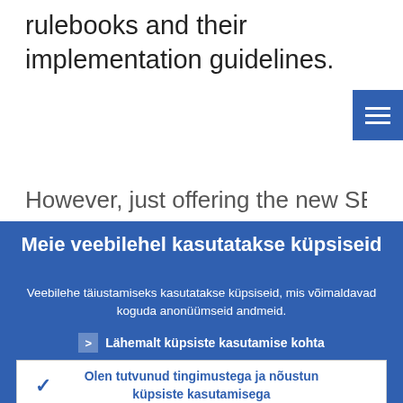rulebooks and their implementation guidelines.
However, just offering the new SEPA
Meie veebilehel kasutatakse küpsiseid
Veebilehe täiustamiseks kasutatakse küpsiseid, mis võimaldavad koguda anonüümseid andmeid.
> Lähemalt küpsiste kasutamise kohta
✓ Olen tutvunud tingimustega ja nõustun küpsiste kasutamisega
✗ Ei nõustu küpsiste kasutamisega